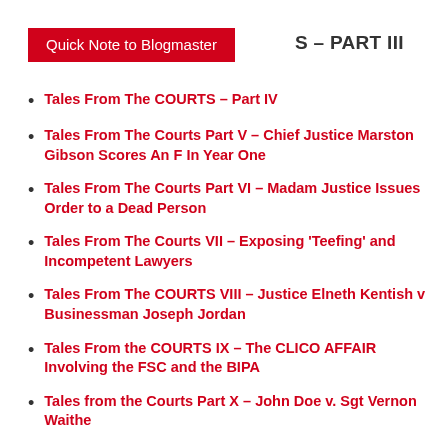Quick Note to Blogmaster
S – PART III
Tales From The COURTS – Part IV
Tales From The Courts Part V – Chief Justice Marston Gibson Scores An F In Year One
Tales From The Courts Part VI – Madam Justice Issues Order to a Dead Person
Tales From The Courts VII – Exposing 'Teefing' and Incompetent Lawyers
Tales From The COURTS VIII – Justice Elneth Kentish v Businessman Joseph Jordan
Tales From the COURTS IX – The CLICO AFFAIR Involving the FSC and the BIPA
Tales from the Courts Part X – John Doe v. Sgt Vernon Waithe